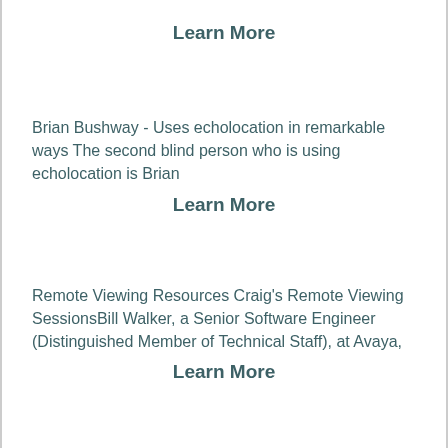Learn More
Brian Bushway - Uses echolocation in remarkable ways The second blind person who is using echolocation is Brian
Learn More
Remote Viewing Resources Craig's Remote Viewing SessionsBill Walker, a Senior Software Engineer (Distinguished Member of Technical Staff), at Avaya,
Learn More